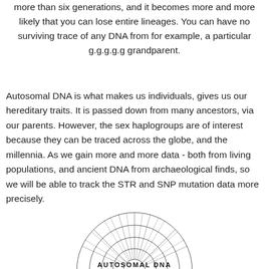more than six generations, and it becomes more and more likely that you can lose entire lineages. You can have no surviving trace of any DNA from for example, a particular g.g.g.g.g grandparent.
Autosomal DNA is what makes us individuals, gives us our hereditary traits. It is passed down from many ancestors, via our parents. However, the sex haplogroups are of interest because they can be traced across the globe, and the millennia. As we gain more and more data - both from living populations, and ancient DNA from archaeological finds, so we will be able to track the STR and SNP mutation data more precisely.
[Figure (other): Semicircular fan/pedigree chart labeled AUTOSOMAL DNA at the bottom, showing multiple generations of ancestry in concentric arcs with text in each segment.]